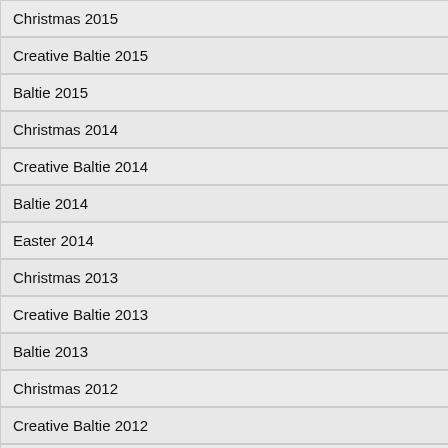Christmas 2015
Creative Baltie 2015
Baltie 2015
Christmas 2014
Creative Baltie 2014
Baltie 2014
Easter 2014
Christmas 2013
Creative Baltie 2013
Baltie 2013
Christmas 2012
Creative Baltie 2012
Baltie 2012
EURO 2012
Easter 2012
Christmas 2011
Baltie 2011
Christmas 2010
3. All voices and texts (menu, languague.
4. The contestants and all the contest by their UID.)
5. The contestant can apply f
6. Author of the contest proje decisive for category classi
7. One contestant can be eith
8. The authors of the conte music, sounds, texts etc. record) or those supplie even if they are free to u individual or a team! The siblings have recorded s and their age is desicive
9. If any unacknowledged hel expelled for good from S
10. No scripts are allowed in th
11. Accessory files (images, so system where the Baltie 3/ lay claim on his piece of
12. By applying project to the c